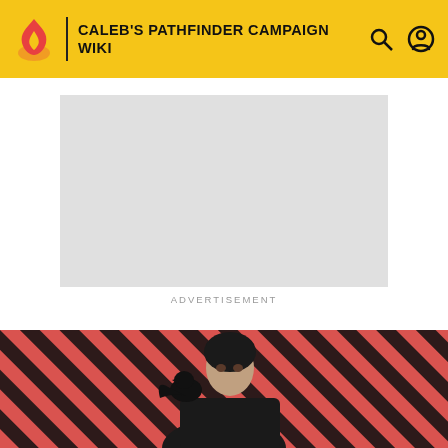CALEB'S PATHFINDER CAMPAIGN WIKI
[Figure (other): Advertisement placeholder block (grey rectangle)]
ADVERTISEMENT
CALEB'S PATHFINDER CAMPAIGN WIKI
Achievements
[Figure (photo): Hero image showing a person with dark hair against a diagonal red and dark striped background, with a bird (crow/raven) on their shoulder]